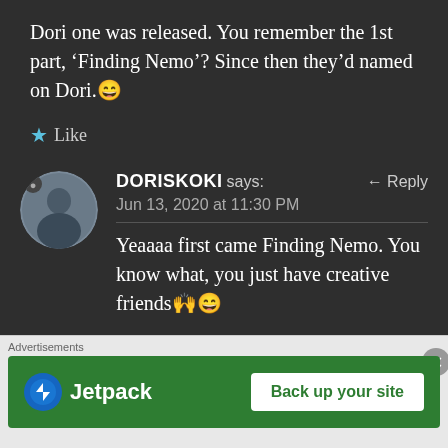Dori one was released. You remember the 1st part, ‘Finding Nemo’? Since then they’d named on Dori.😄
★ Like
DORISKOKI says:  ← Reply
Jun 13, 2020 at 11:30 PM
Yeaaaa first came Finding Nemo. You know what, you just have creative friends🙌😄
Advertisements
[Figure (logo): Jetpack logo and 'Back up your site' advertisement banner on green background]